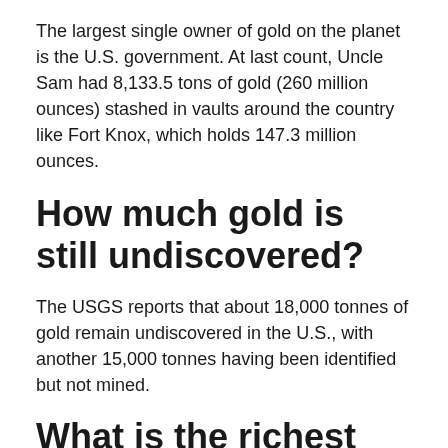The largest single owner of gold on the planet is the U.S. government. At last count, Uncle Sam had 8,133.5 tons of gold (260 million ounces) stashed in vaults around the country like Fort Knox, which holds 147.3 million ounces.
How much gold is still undiscovered?
The USGS reports that about 18,000 tonnes of gold remain undiscovered in the U.S., with another 15,000 tonnes having been identified but not mined.
What is the richest gold mine in the world?